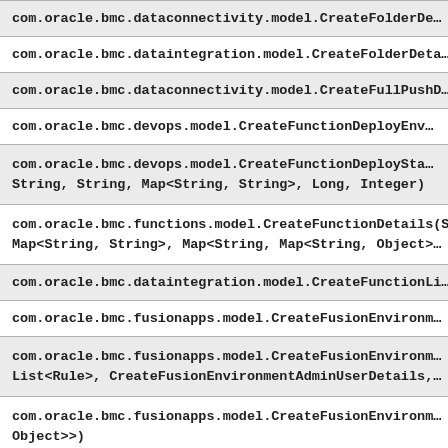| com.oracle.bmc.dataconnectivity.model.CreateFolderDe... |
| com.oracle.bmc.dataintegration.model.CreateFolderDeta... |
| com.oracle.bmc.dataconnectivity.model.CreateFullPushD... |
| com.oracle.bmc.devops.model.CreateFunctionDeployEnv... |
| com.oracle.bmc.devops.model.CreateFunctionDeploySta...
String, String, Map<String, String>, Long, Integer) |
| com.oracle.bmc.functions.model.CreateFunctionDetails(S...
Map<String, String>, Map<String, Map<String, Object>... |
| com.oracle.bmc.dataintegration.model.CreateFunctionLi... |
| com.oracle.bmc.fusionapps.model.CreateFusionEnvironm... |
| com.oracle.bmc.fusionapps.model.CreateFusionEnvironm...
List<Rule>, CreateFusionEnvironmentAdminUserDetails,... |
| com.oracle.bmc.fusionapps.model.CreateFusionEnvironm...
Object>>) |
| com.oracle.bmc.apigateway.model.CreateGatewayDetails...
Map<String, Map<String, Object>>, List<CaBundle>) |
| com.oracle.bmc.artifacts.model.CreateGenericRepository... |
| com.oracle.bmc.resourcemanager.model.CreateGitConfi... |